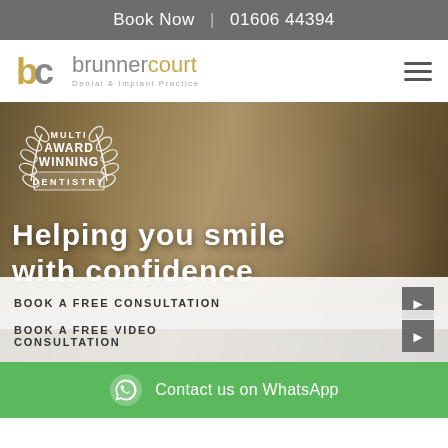Book Now | 01606 44394
[Figure (logo): Brunner Court Dental & Implant Practice logo with stylized 'bc' letters in gold and grey]
[Figure (photo): Hero image of smiling couple with overlay text 'Helping you smile with confidence' and multi award winning dentistry badge]
BOOK A FREE CONSULTATION
BOOK A FREE VIDEO CONSULTATION
Contact us on WhatsApp